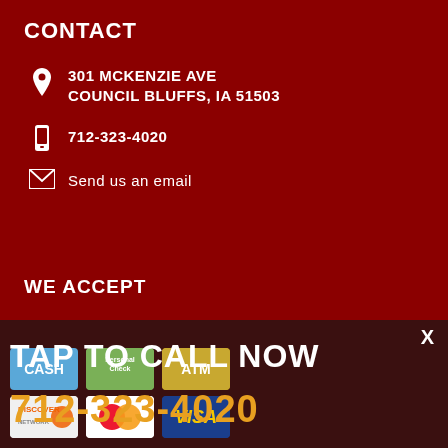CONTACT
301 MCKENZIE AVE
COUNCIL BLUFFS, IA 51503
712-323-4020
Send us an email
WE ACCEPT
X
TAP TO CALL NOW
712-323-4020
[Figure (other): Payment method icons: CASH, Personal Check, ATM, Discover, Mastercard, Visa]